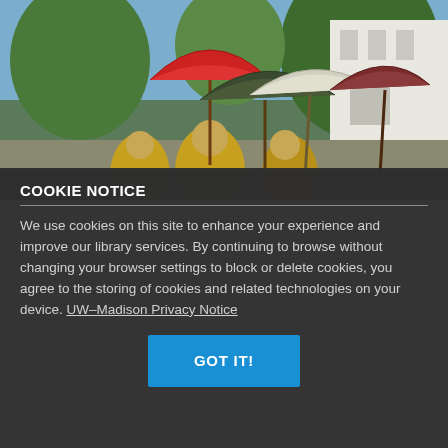[Figure (photo): Outdoor scene showing Buddhist monks in yellow robes holding large colorful parasol umbrellas (red, dark green, maroon) with trees and a white building in the background under a blue sky.]
COOKIE NOTICE
We use cookies on this site to enhance your experience and improve our library services. By continuing to browse without changing your browser settings to block or delete cookies, you agree to the storing of cookies and related technologies on your device. UW–Madison Privacy Notice
GOT IT!